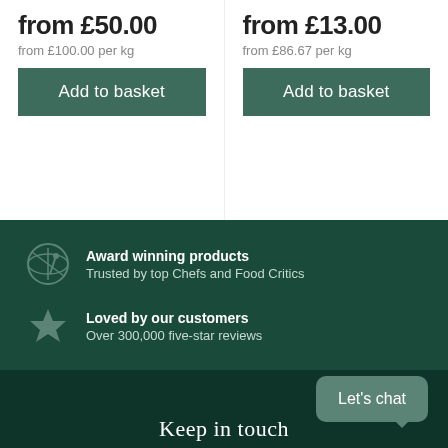from £50.00
from £100.00 per kg
Add to basket
from £13.00
from £86.67 per kg
Add to basket
Award winning products
Trusted by top Chefs and Food Critics
Loved by our customers
Over 300,000 five-star reviews
Bespoke delivery
Pick your own delivery date
Let's chat
Keep in touch